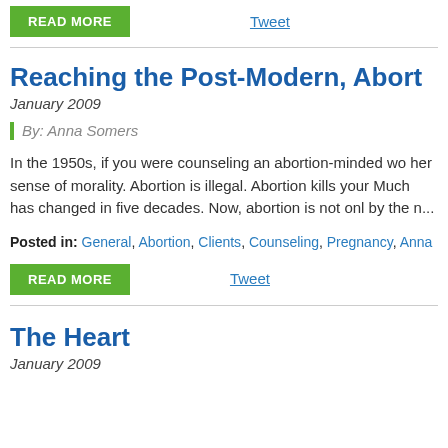READ MORE
Tweet
Reaching the Post-Modern, Abort
January 2009
By: Anna Somers
In the 1950s, if you were counseling an abortion-minded wo her sense of morality. Abortion is illegal. Abortion kills your Much has changed in five decades. Now, abortion is not onl by the n...
Posted in: General, Abortion, Clients, Counseling, Pregnancy, Anna
READ MORE
Tweet
The Heart
January 2009